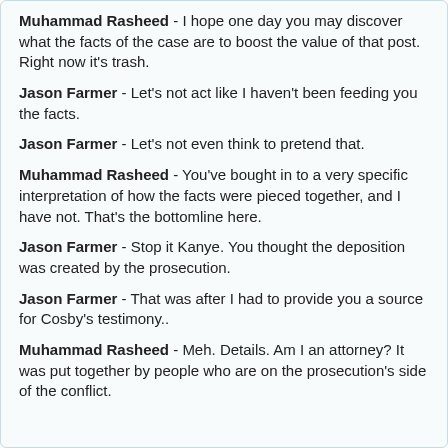Muhammad Rasheed - I hope one day you may discover what the facts of the case are to boost the value of that post. Right now it's trash.
Jason Farmer - Let's not act like I haven't been feeding you the facts.
Jason Farmer - Let's not even think to pretend that.
Muhammad Rasheed - You've bought in to a very specific interpretation of how the facts were pieced together, and I have not. That's the bottomline here.
Jason Farmer - Stop it Kanye. You thought the deposition was created by the prosecution.
Jason Farmer - That was after I had to provide you a source for Cosby's testimony..
Muhammad Rasheed - Meh. Details. Am I an attorney? It was put together by people who are on the prosecution's side of the conflict.